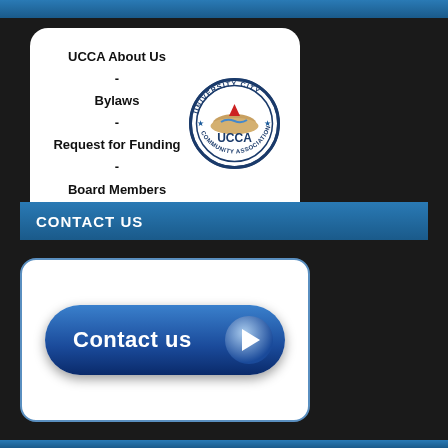UCCA About Us
-
Bylaws
-
Request for Funding
-
Board Members
[Figure (logo): University City Community Association circular seal logo with 'UCCA' text in center]
CONTACT US
[Figure (illustration): Blue rounded button with 'Contact us' text and a play arrow icon]